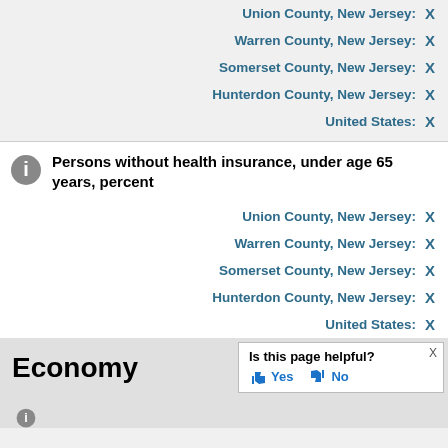Union County, New Jersey: X
Warren County, New Jersey: X
Somerset County, New Jersey: X
Hunterdon County, New Jersey: X
United States: X
Persons without health insurance, under age 65 years, percent
Union County, New Jersey: X
Warren County, New Jersey: X
Somerset County, New Jersey: X
Hunterdon County, New Jersey: X
United States: X
Economy
Is this page helpful? Yes No